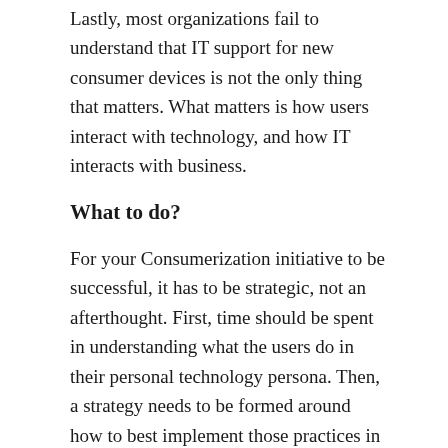Lastly, most organizations fail to understand that IT support for new consumer devices is not the only thing that matters. What matters is how users interact with technology, and how IT interacts with business.
What to do?
For your Consumerization initiative to be successful, it has to be strategic, not an afterthought. First, time should be spent in understanding what the users do in their personal technology persona. Then, a strategy needs to be formed around how to best implement those practices in the enterprise. This exercise should include the business leadership, IT leadership, and a pilot user group. Key decisions need to be taken around what devices will be allowed, how will they be managed, what access permissions will the users have, who will control the policies, liability clauses, data protection policies,